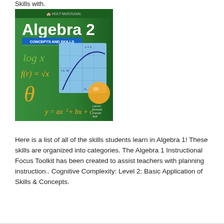Skills with:
[Figure (photo): Cover of Holt McDougal Algebra 2: Concepts and Skills textbook, featuring a green background with mathematical symbols including log x, f(r)=√x, theta, y=ax²+bx+c, and a coordinate graph showing a parabola. Authors listed: Larson, Boswell, Kanold, Stiff.]
Here is a list of all of the skills students learn in Algebra 1! These skills are organized into categories. The Algebra 1 Instructional Focus Toolkit has been created to assist teachers with planning instruction.. Cognitive Complexity: Level 2: Basic Application of Skills & Concepts.